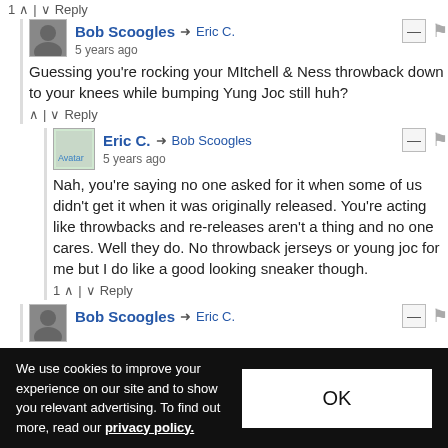1 ↑ | ↓ Reply
Bob Scoogles → Eric C.
5 years ago
Guessing you're rocking your MItchell & Ness throwback down to your knees while bumping Yung Joc still huh?
↑ | ↓ Reply
Eric C. → Bob Scoogles
5 years ago
Nah, you're saying no one asked for it when some of us didn't get it when it was originally released. You're acting like throwbacks and re-releases aren't a thing and no one cares. Well they do. No throwback jerseys or young joc for me but I do like a good looking sneaker though.
1 ↑ | ↓ Reply
Bob Scoogles → Eric C.
We use cookies to improve your experience on our site and to show you relevant advertising. To find out more, read our privacy policy.